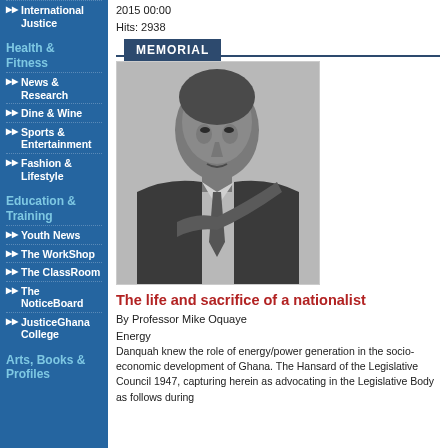►► International Justice
Health & Fitness
►► News & Research
►► Dine & Wine
►► Sports & Entertainment
►► Fashion & Lifestyle
Education & Training
►► Youth News
►► The WorkShop
►► The ClassRoom
►► The NoticeBoard
►► JusticeGhana College
Arts, Books & Profiles
2015 00:00
Hits: 2938
MEMORIAL
[Figure (photo): Black and white portrait photograph of a man in a suit, pointing forward]
The life and sacrifice of a nationalist
By Professor Mike Oquaye
Energy
Danquah knew the role of energy/power generation in the socio-economic development of Ghana. The Hansard of the Legislative Council 1947, capturing herein as advocating in the Legislative Body as follows during